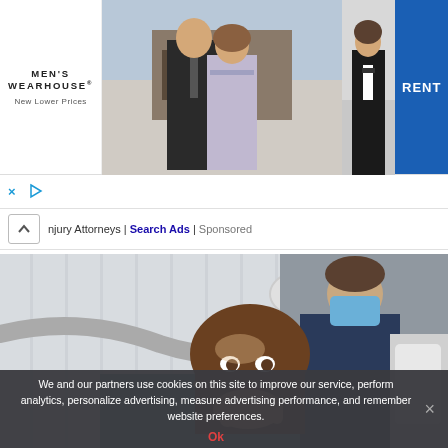[Figure (photo): Men's Wearhouse advertisement banner with a couple dressed for a formal event and a man in a tuxedo, with a blue RENT button]
× ▷
njury Attorneys | Search Ads | Sponsored
[Figure (photo): Dental office photo showing a woman in a dental chair with hand over mouth in surprise, and a masked dentist in the background]
We and our partners use cookies on this site to improve our service, perform analytics, personalize advertising, measure advertising performance, and remember website preferences.
Ok